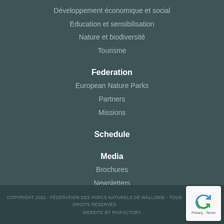Développement économique et social
Education et sensibilisation
Nature et biodiversité
Tourisme
Federation
European Nature Parks
Partners
Missions
Schedule
Media
Brochures
Newsletters
Vidéos
Contact
COPYRIGHT 2022 - FÉDÉRATION DES PARCS NATURELS DE WALLONIE - TOUS DROITS RÉSERVÉS
WEBSITE BY PIXFACTORY